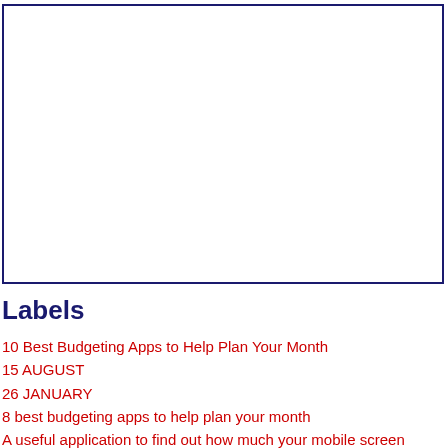[Figure (other): Empty white rectangle with dark navy border, likely a placeholder for an image or advertisement]
Labels
10 Best Budgeting Apps to Help Plan Your Month
15 AUGUST
26 JANUARY
8 best budgeting apps to help plan your month
A useful application to find out how much your mobile screen damage your eyes
ACCIDENT
ADHAR CARD
ADHAR DICE
ADHARCARD
ADHARSH UTTARVAHI